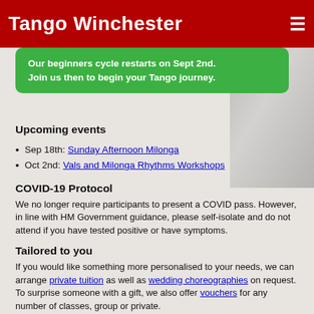Tango Winchester
Our beginners cycle restarts on Sept 2nd. Join us then to begin your Tango journey.
Upcoming events
Sep 18th: Sunday Afternoon Milonga
Oct 2nd: Vals and Milonga Rhythms Workshops
COVID-19 Protocol
We no longer require participants to present a COVID pass. However, in line with HM Government guidance, please self-isolate and do not attend if you have tested positive or have symptoms.
Tailored to you
If you would like something more personalised to your needs, we can arrange private tuition as well as wedding choreographies on request. To surprise someone with a gift, we also offer vouchers for any number of classes, group or private.
Follow us on Social Media